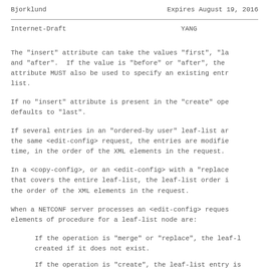Bjorklund                    Expires August 19, 2016
Internet-Draft                         YANG
The "insert" attribute can take the values "first", "la and "after".  If the value is "before" or "after", the attribute MUST also be used to specify an existing entr list.
If no "insert" attribute is present in the "create" ope defaults to "last".
If several entries in an "ordered-by user" leaf-list ar the same <edit-config> request, the entries are modifie time, in the order of the XML elements in the request.
In a <copy-config>, or an <edit-config> with a "replace that covers the entire leaf-list, the leaf-list order i the order of the XML elements in the request.
When a NETCONF server processes an <edit-config> reques elements of procedure for a leaf-list node are:
If the operation is "merge" or "replace", the leaf-l created if it does not exist.
If the operation is "create", the leaf-list entry is